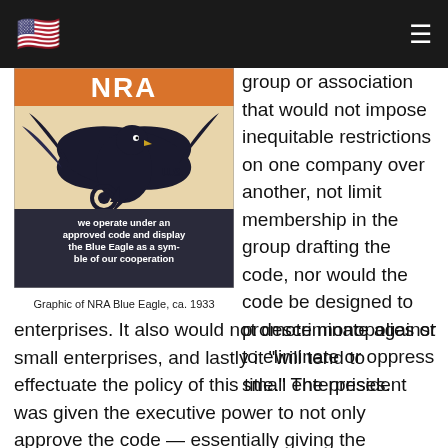🇺🇸 ☰
[Figure (illustration): NRA Blue Eagle graphic ca. 1933 showing eagle with lightning bolt and gear, text reading 'We operate under an approved code and display the Blue Eagle as a symbol of our cooperation']
Graphic of NRA Blue Eagle, ca. 1933
group or association that would not impose inequitable restrictions on one company over another, not limit membership in the group drafting the code, nor would the code be designed to promote monopolies or to eliminate or oppress small enterprises. It also would not descriminate against small enterprises, and lastly it "will tend to effectuate the policy of this title." The president was given the executive power to not only approve the code — essentially giving the President the authority to make laws, which is the job of the Congress —